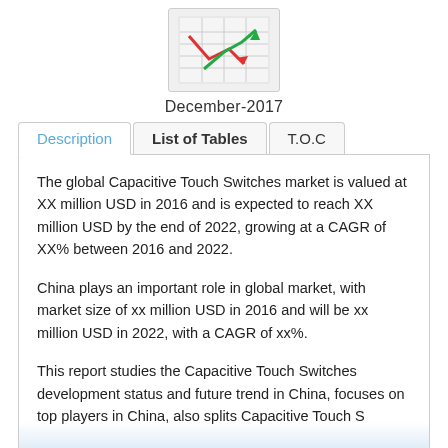[Figure (illustration): Market research report icon showing a chart/graph with red and green arrows on a document/table background]
December-2017
Description | List of Tables | T.O.C
The global Capacitive Touch Switches market is valued at XX million USD in 2016 and is expected to reach XX million USD by the end of 2022, growing at a CAGR of XX% between 2016 and 2022.

China plays an important role in global market, with market size of xx million USD in 2016 and will be xx million USD in 2022, with a CAGR of xx%.

This report studies the Capacitive Touch Switches development status and future trend in China, focuses on top players in China, also splits Capacitive Touch S
Read More